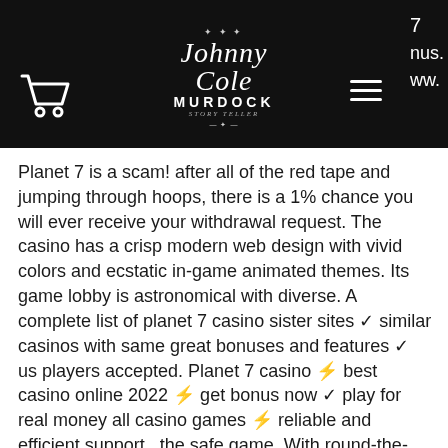Johnny Cole Murdock [logo]
Planet 7 is a scam! after all of the red tape and jumping through hoops, there is a 1% chance you will ever receive your withdrawal request. The casino has a crisp modern web design with vivid colors and ecstatic in-game animated themes. Its game lobby is astronomical with diverse. A complete list of planet 7 casino sister sites ✓ similar casinos with same great bonuses and features ✓ us players accepted. Planet 7 casino ⚡ best casino online 2022 ⚡ get bonus now ✓ play for real money all casino games ⚡ reliable and efficient support  the safe game. With round-the-clock customer support available through multiple means, different supported languages, a proven gaming provider and complete. Planet 7 casino review + no deposit welcome planet7 bonus coupons